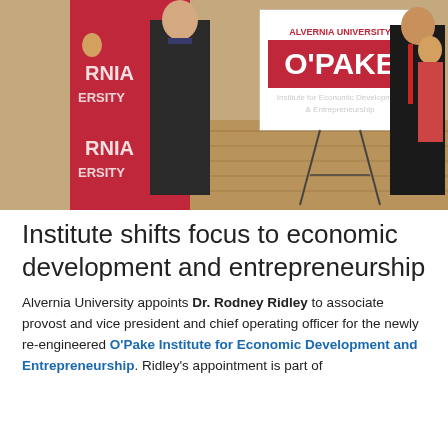[Figure (photo): Two men in suits standing holding a sign for 'Alvernia University O'Pake Institute for Economic Development & Entrepreneurship' mounted on an easel, in front of a red Alvernia University banner, with other attendees visible in the background.]
Institute shifts focus to economic development and entrepreneurship
Alvernia University appoints Dr. Rodney Ridley to associate provost and vice president and chief operating officer for the newly re-engineered O'Pake Institute for Economic Development and Entrepreneurship. Ridley's appointment is part of